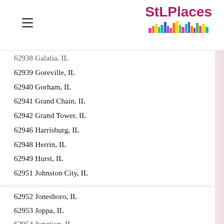StLPlaces
62939 Goreville, IL
62940 Gorham, IL
62941 Grand Chain, IL
62942 Grand Tower, IL
62946 Harrisburg, IL
62948 Herrin, IL
62949 Hurst, IL
62951 Johnston City, IL
62952 Jonesboro, IL
62953 Joppa, IL
62954 Junction, IL